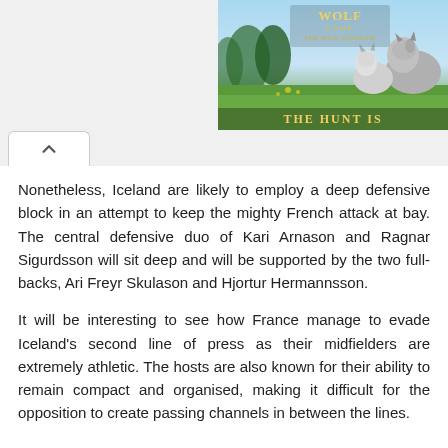[Figure (screenshot): Wolf Game: The Wild Kingdom advertisement banner showing wolves in a meadow with forest background and text 'THE HUNT IS']
Nonetheless, Iceland are likely to employ a deep defensive block in an attempt to keep the mighty French attack at bay. The central defensive duo of Kari Arnason and Ragnar Sigurdsson will sit deep and will be supported by the two full-backs, Ari Freyr Skulason and Hjortur Hermannsson.
It will be interesting to see how France manage to evade Iceland's second line of press as their midfielders are extremely athletic. The hosts are also known for their ability to remain compact and organised, making it difficult for the opposition to create passing channels in between the lines.